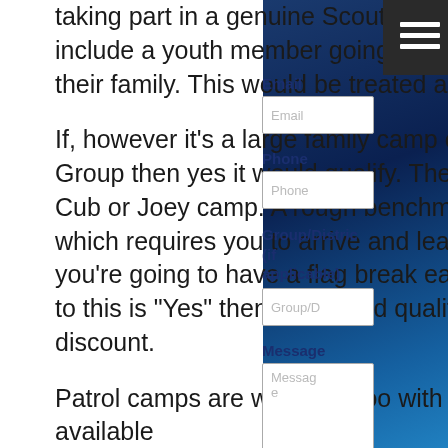taking part in a genuine Scouting activity.  This does not include a youth member going on a camping holiday with their family.  This would be treated as a public booking.
If, however it's a large family camp organised by the Group then yes it would qualify.  The same as a Troop, Cub or Joey camp.  A rough benchmark is 'is it a camp which requires you to arrive and leave in uniform and you're going to have a flag break each day". If the answer to this is "Yes" then you would qualify for the Scout discount.
Patrol camps are welcome too with some small sites available
What is the discount I hear . . . . . . . .
Email
Phone
Group/District (if applicable)
Message